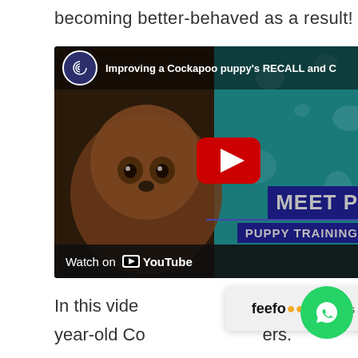becoming better-behaved as a result!
[Figure (screenshot): YouTube video thumbnail showing a Cockapoo puppy with title 'Improving a Cockapoo puppy's RECALL and C...' and a Watch on YouTube bar at the bottom. Contains a red play button and 'MEET P... PUPPY TRAINING' text overlay.]
In this vide a three year-old Co ers.
[Figure (other): Feefo Reviews popup badge]
[Figure (logo): WhatsApp contact button (green circle with phone icon)]